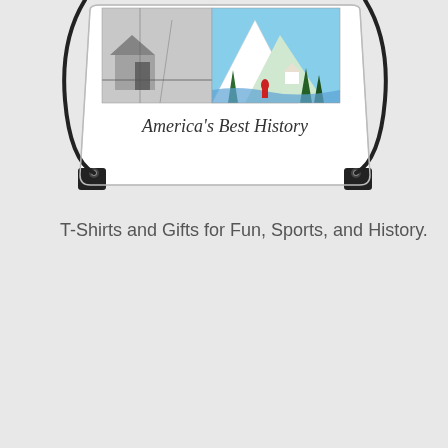[Figure (photo): A white drawstring bag/backpack with historical images printed on it — left side shows a black-and-white photo of an old mining structure, right side shows a colorful painting of a mountain landscape with figures. The bag has black drawstring cords and black corner reinforcements. The text 'America's Best History' is written in cursive script across the lower portion of the bag.]
T-Shirts and Gifts for Fun, Sports, and History.